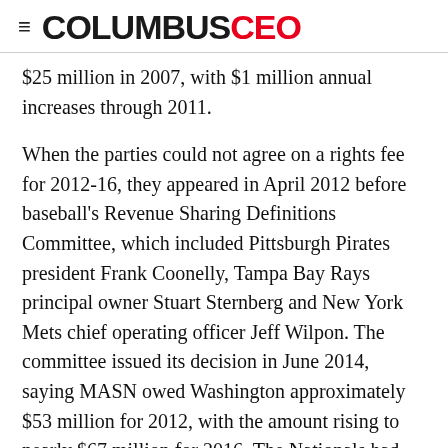≡ COLUMBUSCEO
$25 million in 2007, with $1 million annual increases through 2011.
When the parties could not agree on a rights fee for 2012-16, they appeared in April 2012 before baseball's Revenue Sharing Definitions Committee, which included Pittsburgh Pirates president Frank Coonelly, Tampa Bay Rays principal owner Stuart Sternberg and New York Mets chief operating officer Jeff Wilpon. The committee issued its decision in June 2014, saying MASN owed Washington approximately $53 million for 2012, with the amount rising to nearly $67 million for 2016. The Nationals had